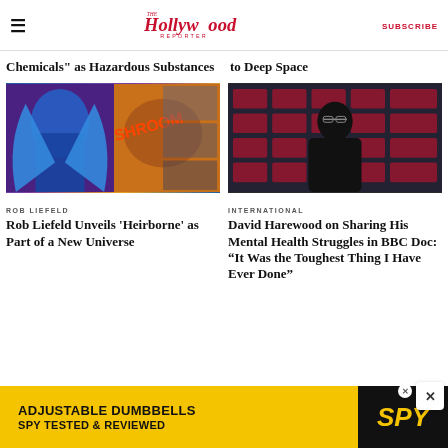The Hollywood Reporter — SUBSCRIBE
Chemicals" as Hazardous Substances
to Deep Space
[Figure (photo): Comic book art showing superhero characters in blue costume and action scenes]
[Figure (photo): David Harewood standing at a Screen Scotland TV Festival press backdrop in a black leather jacket]
ROB LIEFELD
Rob Liefeld Unveils 'Heirborne' as Part of a New Universe
INTERNATIONAL
David Harewood on Sharing His Mental Health Struggles in BBC Doc: “It Was the Toughest Thing I Have Ever Done”
[Figure (infographic): Advertisement: ADJUSTABLE DUMBBELLS — SPY TESTED & REVIEWED — SPY logo on black background with yellow banner]